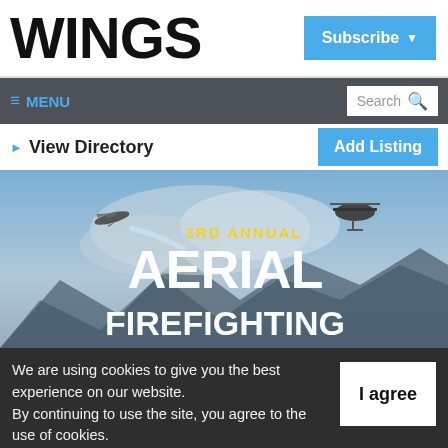WINGS
Subscribe
≡ MENU
Search
▶ View Directory
Add Listing
[Figure (photo): Aerial firefighting banner showing two aircraft (a fixed-wing tanker dropping retardant and a helicopter) against a smoky sky, with bold text '3RD ANNUAL AERIAL FIREFIGHTING']
We are using cookies to give you the best experience on our website.
By continuing to use the site, you agree to the use of cookies.
To find out more, read our privacy policy.
I agree